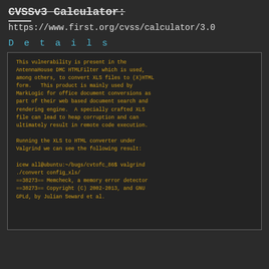CVSSv3 Calculator:
https://www.first.org/cvss/calculator/3.0
Details
This vulnerability is present in the AntennaHouse DMC HTMLFilter which is used, among others, to convert XLS files to (X)HTML form.   This product is mainly used by MarkLogic for office document conversions as part of their web based document search and rendering engine.  A specially crafted XLS file can lead to heap corruption and can ultimately result in remote code execution.

Running the XLS to HTML converter under Valgrind we can see the following result:

icew all@ubuntu:~/bugs/cvtofc_86$ valgrind ./convert config_xls/
==38273== Memcheck, a memory error detector
==38273== Copyright (C) 2002-2013, and GNU
GPLd, by Julian Seward et al.